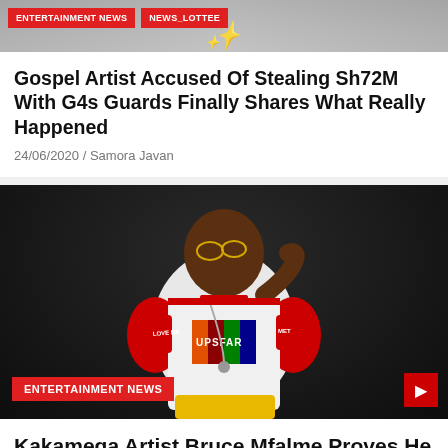[Figure (photo): Partial top banner with entertainment news category tags and golden decorative text]
Gospel Artist Accused Of Stealing Sh72M With G4s Guards Finally Shares What Really Happened
24/06/2020 / Samora Javan
[Figure (photo): Photo of Kakamega artist Bruce Mfalme wearing a white and red 'UPSFAR' branded t-shirt with colorful chest patch, silver chain necklace, white ripped jeans, sitting against a dark background. ENTERTAINMENT NEWS tag overlay at bottom.]
Kakamega Artist Bruce Mfalme Proves He Can